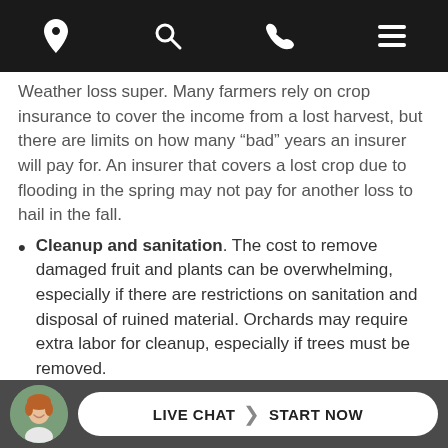Navigation bar with location, search, phone, and menu icons
Weather loss super. Many farmers rely on crop insurance to cover the income from a lost harvest, but there are limits on how many "bad" years an insurer will pay for. An insurer that covers a lost crop due to flooding in the spring may not pay for another loss to hail in the fall.
Cleanup and sanitation. The cost to remove damaged fruit and plants can be overwhelming, especially if there are restrictions on sanitation and disposal of ruined material. Orchards may require extra labor for cleanup, especially if trees must be removed.
Insect protection. Hail damage may encourage insects on leaves and berries, ruining the appearance of the fruit and spreading plant viruses. Insect and virus protection may be offered under a policy extension for multiple perils, but it may also have a separate deductible.
Business income loss. Customers may not be inclined to buy damaged fruit, even if the damage is cosmetic or professionally treated.
LIVE CHAT | START NOW